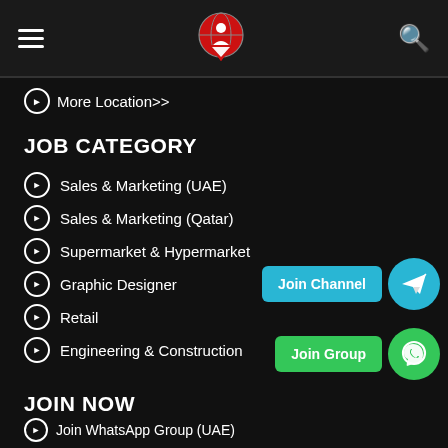Navigation header with hamburger menu, logo, and search icon
More Location>>
JOB CATEGORY
Sales & Marketing (UAE)
Sales & Marketing (Qatar)
Supermarket & Hypermarket
Graphic Designer
Retail
Engineering & Construction
[Figure (infographic): Join Channel button (cyan) with Telegram icon circle, and Join Group button (green) with WhatsApp icon circle]
JOIN NOW
Join WhatsApp Group (UAE)